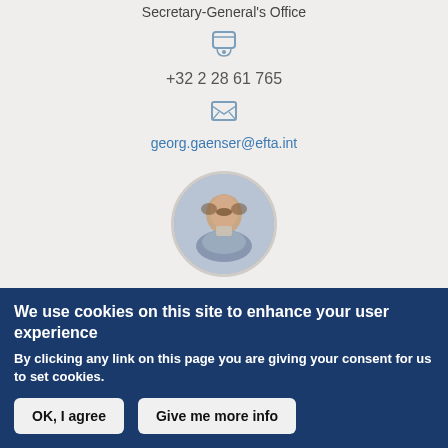Secretary-General's Office
+32 2 28 61 765
georg.gaenser@efta.int
[Figure (photo): Circular profile photo of Frank J. Büchel, a man in a suit]
Frank J. Büchel
We use cookies on this site to enhance your user experience
By clicking any link on this page you are giving your consent for us to set cookies.
OK, I agree
Give me more info